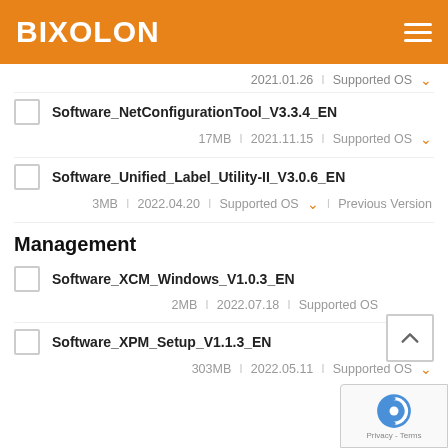BIXOLON
2021.01.26  I  Supported OS
Software_NetConfigurationTool_V3.3.4_EN
17MB  I  2021.11.15  I  Supported OS
Software_Unified_Label_Utility-II_V3.0.6_EN
3MB  I  2022.04.20  I  Supported OS  I  Previous Version
Management
Software_XCM_Windows_V1.0.3_EN
2MB  I  2022.07.18  I  Supported OS
Software_XPM_Setup_V1.1.3_EN
303MB  I  2022.05.11  I  Supported OS